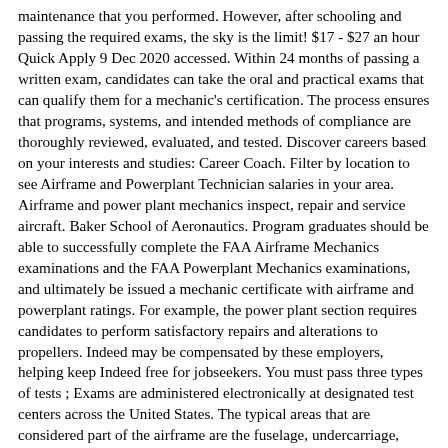maintenance that you performed. However, after schooling and passing the required exams, the sky is the limit! $17 - $27 an hour Quick Apply 9 Dec 2020 accessed. Within 24 months of passing a written exam, candidates can take the oral and practical exams that can qualify them for a mechanic's certification. The process ensures that programs, systems, and intended methods of compliance are thoroughly reviewed, evaluated, and tested. Discover careers based on your interests and studies: Career Coach. Filter by location to see Airframe and Powerplant Technician salaries in your area. Airframe and power plant mechanics inspect, repair and service aircraft. Baker School of Aeronautics. Program graduates should be able to successfully complete the FAA Airframe Mechanics examinations and the FAA Powerplant Mechanics examinations, and ultimately be issued a mechanic certificate with airframe and powerplant ratings. For example, the power plant section requires candidates to perform satisfactory repairs and alterations to propellers. Indeed may be compensated by these employers, helping keep Indeed free for jobseekers. You must pass three types of tests ; Exams are administered electronically at designated test centers across the United States. The typical areas that are considered part of the airframe are the fuselage, undercarriage, wings, and empennage. Paperback . This 42-credit-hour certificate, approved by the Federal Aviation Administration (FAA) under the Federal Aviation Regulations, FAR147, prepares students to pass the Federal tests